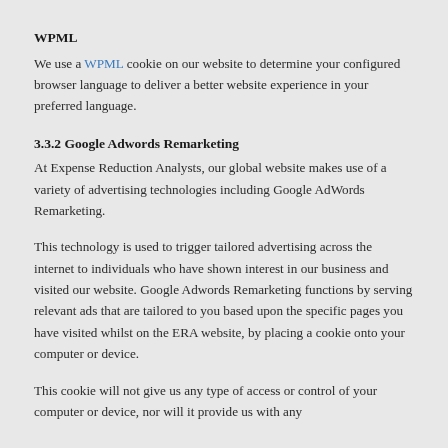WPML
We use a WPML cookie on our website to determine your configured browser language to deliver a better website experience in your preferred language.
3.3.2 Google Adwords Remarketing
At Expense Reduction Analysts, our global website makes use of a variety of advertising technologies including Google AdWords Remarketing.
This technology is used to trigger tailored advertising across the internet to individuals who have shown interest in our business and visited our website. Google Adwords Remarketing functions by serving relevant ads that are tailored to you based upon the specific pages you have visited whilst on the ERA website, by placing a cookie onto your computer or device.
This cookie will not give us any type of access or control of your computer or device, nor will it provide us with any